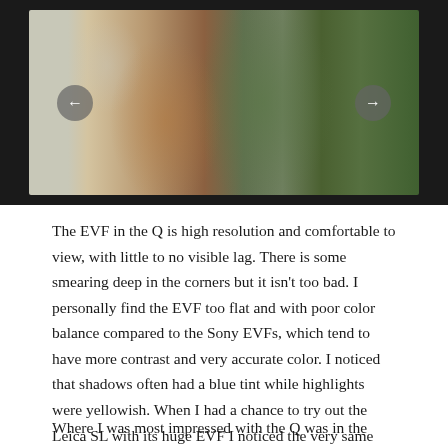[Figure (photo): Photo of two people at what appears to be an outdoor event or festival. A woman with long red hair wearing a patterned dress is visible on the left, and a person wearing a green draped top and jeans is on the right. Navigation arrows overlay the image suggesting a slideshow.]
The EVF in the Q is high resolution and comfortable to view, with little to no visible lag. There is some smearing deep in the corners but it isn't too bad. I personally find the EVF too flat and with poor color balance compared to the Sony EVFs, which tend to have more contrast and very accurate color. I noticed that shadows often had a blue tint while highlights were yellowish. When I had a chance to try out the Leica SL with its huge EVF I noticed the very same color and contrast issues.
Where I was most impressed with the Q was in the